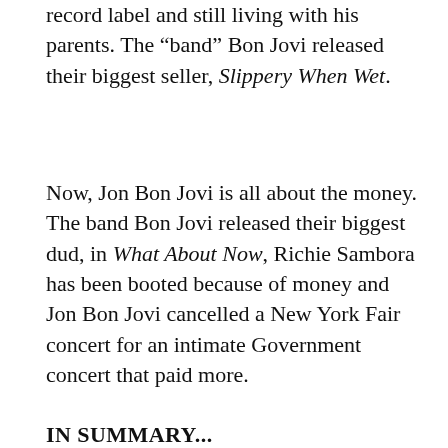record label and still living with his parents. The “band” Bon Jovi released their biggest seller, Slippery When Wet.
Now, Jon Bon Jovi is all about the money. The band Bon Jovi released their biggest dud, in What About Now, Richie Sambora has been booted because of money and Jon Bon Jovi cancelled a New York Fair concert for an intimate Government concert that paid more.
IN SUMMARY...